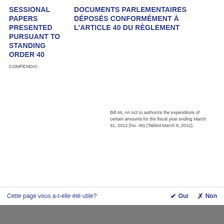SESSIONAL PAPERS PRESENTED PURSUANT TO STANDING ORDER 40
DOCUMENTS PARLEMENTAIRES DÉPOSÉS CONFORMÉMENT À L'ARTICLE 40 DU RÈGLEMENT
COMPENDIA:
Bill 46, An Act to authorize the expenditure of certain amounts for the fiscal year ending March 31, 2012 (No. 46) (Tabled March 8, 2012).
Cette page vous a-t-elle été utile?
✔ Oui
✗ Non